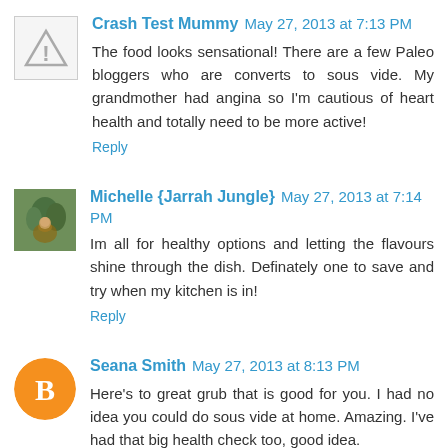[Figure (illustration): Warning triangle icon avatar for Crash Test Mummy]
Crash Test Mummy May 27, 2013 at 7:13 PM
The food looks sensational! There are a few Paleo bloggers who are converts to sous vide. My grandmother had angina so I'm cautious of heart health and totally need to be more active!
Reply
[Figure (photo): Photo avatar of Michelle Jarrah Jungle - outdoor scene with person]
Michelle {Jarrah Jungle} May 27, 2013 at 7:14 PM
Im all for healthy options and letting the flavours shine through the dish. Definately one to save and try when my kitchen is in!
Reply
[Figure (illustration): Orange circle with white blogger B icon avatar for Seana Smith]
Seana Smith May 27, 2013 at 8:13 PM
Here's to great grub that is good for you. I had no idea you could do sous vide at home. Amazing. I've had that big health check too, good idea.